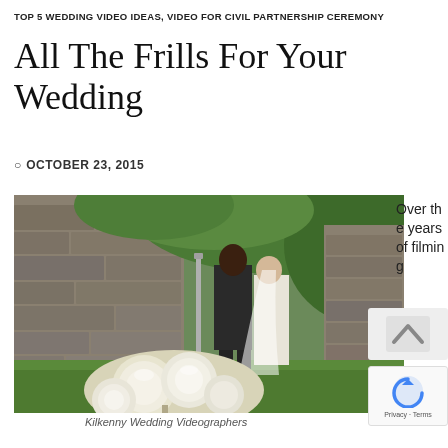TOP 5 WEDDING VIDEO IDEAS, VIDEO FOR CIVIL PARTNERSHIP CEREMONY
All The Frills For Your Wedding
OCTOBER 23, 2015
[Figure (photo): Wedding photo showing a bride and groom standing near a stone wall with ivy, with a white rose bouquet in the foreground on the grass. Kilkenny Wedding Videographers.]
Kilkenny Wedding Videographers
Over the years of filming